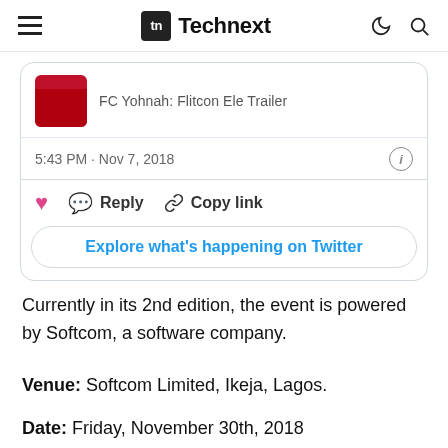Technext
[Figure (screenshot): Embedded Twitter/X tweet card showing a partial tweet with thumbnail image, timestamp '5:43 PM · Nov 7, 2018', like, reply, copy link actions, and an 'Explore what's happening on Twitter' button.]
Currently in its 2nd edition, the event is powered by Softcom, a software company.
Venue: Softcom Limited, Ikeja, Lagos.
Date: Friday, November 30th, 2018